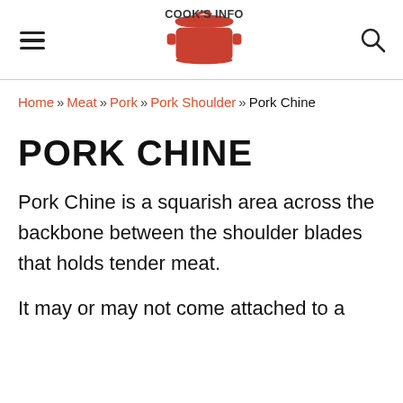Cook's Info
Home » Meat » Pork » Pork Shoulder » Pork Chine
PORK CHINE
Pork Chine is a squarish area across the backbone between the shoulder blades that holds tender meat.
It may or may not come attached to a